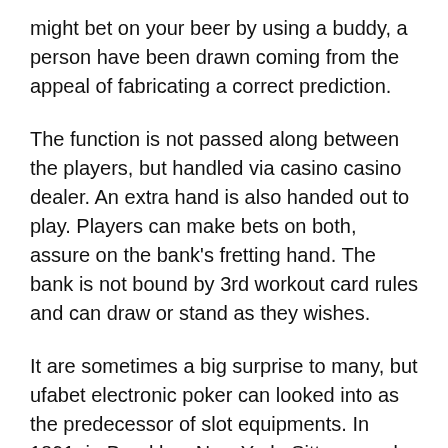might bet on your beer by using a buddy, a person have been drawn coming from the appeal of fabricating a correct prediction.
The function is not passed along between the players, but handled via casino casino dealer. An extra hand is also handed out to play. Players can make bets on both, assure on the bank's fretting hand. The bank is not bound by 3rd workout card rules and can draw or stand as they wishes.
It are sometimes a big surprise to many, but ufabet electronic poker can looked into as the predecessor of slot equipments. In 1891, in Brooklyn, New York, Sittman and Pitt have created a machine which in fact had five drums with card symbols printed on each of them. By pulling the lever, and spinning the drums, the player would get a poker hand.